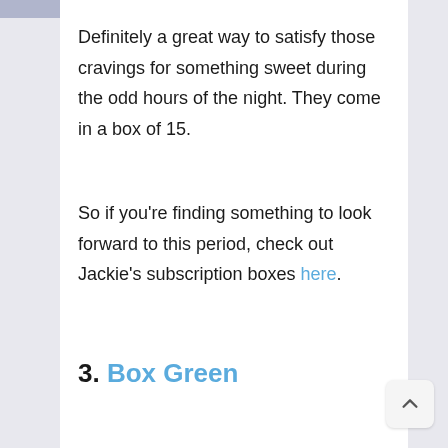Definitely a great way to satisfy those cravings for something sweet during the odd hours of the night. They come in a box of 15.
So if you're finding something to look forward to this period, check out Jackie's subscription boxes here.
3. Box Green